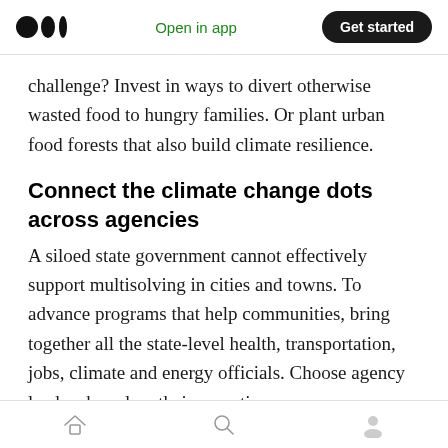Open in app | Get started
challenge? Invest in ways to divert otherwise wasted food to hungry families. Or plant urban food forests that also build climate resilience.
Connect the climate change dots across agencies
A siloed state government cannot effectively support multisolving in cities and towns. To advance programs that help communities, bring together all the state-level health, transportation, jobs, climate and energy officials. Choose agency leaders based on their expertise
Home | Search | Profile